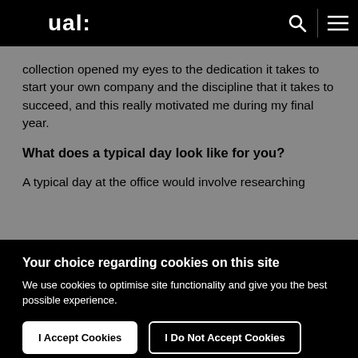ual:
collection opened my eyes to the dedication it takes to start your own company and the discipline that it takes to succeed, and this really motivated me during my final year.
What does a typical day look like for you?
A typical day at the office would involve researching
Your choice regarding cookies on this site
We use cookies to optimise site functionality and give you the best possible experience.
I Accept Cookies
I Do Not Accept Cookies
Settings